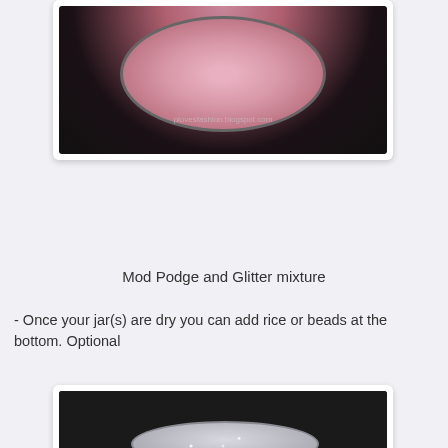[Figure (photo): Top-down view of a round clear container with pink Mod Podge and glitter mixture inside, on a dark surface. Watermark reads 'plovesfashion.blogspot.com']
Mod Podge and Glitter mixture
- Once your jar(s) are dry you can add rice or beads at the bottom. Optional
[Figure (photo): Side view of a short cylindrical jar coated with silver/white glitter mixture on the outside, sitting on a dark surface]